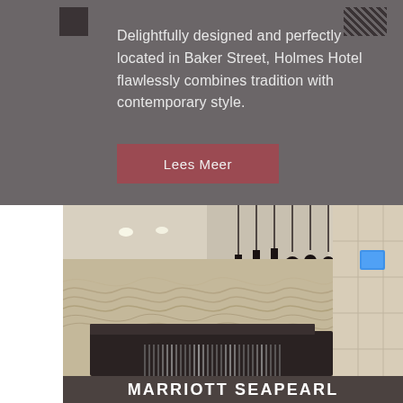Delightfully designed and perfectly located in Baker Street, Holmes Hotel flawlessly combines tradition with contemporary style.
Lees Meer
[Figure (photo): Hotel lobby interior with a decorative wavy textured wall art panel, pendant lights hanging from the ceiling, and a dark reception desk in the foreground.]
MARRIOTT SEAPEARL